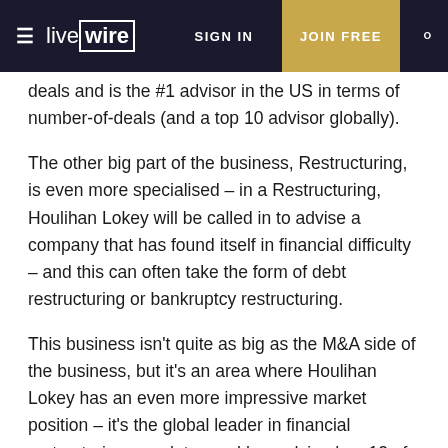≡ livewire   SIGN IN   JOIN FREE   🔍
deals and is the #1 advisor in the US in terms of number-of-deals (and a top 10 advisor globally).
The other big part of the business, Restructuring, is even more specialised – in a Restructuring, Houlihan Lokey will be called in to advise a company that has found itself in financial difficulty – and this can often take the form of debt restructuring or bankruptcy restructuring.
This business isn't quite as big as the M&A side of the business, but it's an area where Houlihan Lokey has an even more impressive market position – it's the global leader in financial restructuring mandates and has advised on 12 of the 15 largest US bankruptcies since 2000.